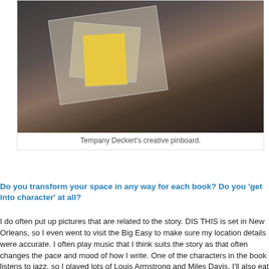[Figure (photo): Photo of Tempany Deckert's creative pinboard showing papers, notes, and an image pinned to a dark wooden surface.]
Tempany Deckert's creative pinboard.
Do you transform your space in any way for each book? Do you 'get into character' at all?
I do often put up pictures that are related to the story. DIS THIS is set in New Orleans, so I even went to visit the Big Easy to make sure my location details were accurate. I often play music that I think suits the story as that often changes the pace and mood of how I write. One of the characters in the book listens to jazz, so I played lots of Louis Armstrong and Miles Davis. I'll also eat the same things as the character and try to explore the character's hobbies and interests. For DIS THIS, the character loves New Orleans food, so I've been eating beignets (famous New Orleans donuts) and chicory coffee. It's a great excuse to eat yummy stuff! When I write, I feel like the lead character, so I definitely get into character. When I'm finished writing I fe...